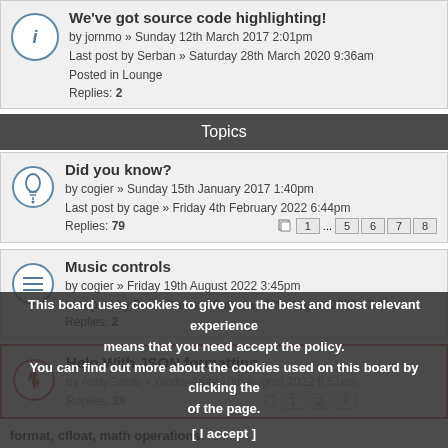We've got source code highlighting! by jornmo » Sunday 12th March 2017 2:01pm
Last post by Serban » Saturday 28th March 2020 9:36am
Posted in Lounge
Replies: 2
Topics
Did you know? by cogier » Sunday 15th January 2017 1:40pm
Last post by cage » Friday 4th February 2022 6:44pm
Replies: 79
Music controls by cogier » Friday 19th August 2022 3:45pm
Last post by BruceSteers » Saturday 20th August 2022 12:21am
Replies: 2
Help With JSON formatting by AndyGable » Wednesday 10th August 2022 9:51am
Replies: 26
format, cfloat, math operations
This board uses cookies to give you the best and most relevant experience means that you need accept the policy. You can find out more about the cookies used on this board by clicking the of the page. [ I accept ]